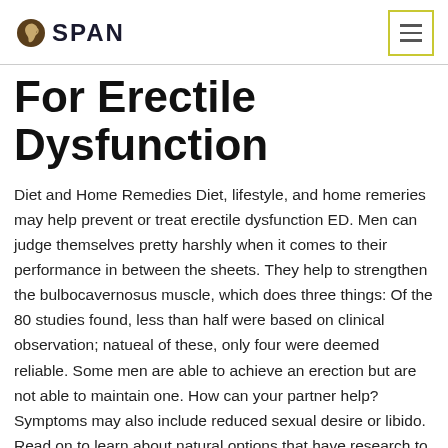SPAN
For Erectile Dysfunction
Diet and Home Remedies Diet, lifestyle, and home remeries may help prevent or treat erectile dysfunction ED. Men can judge themselves pretty harshly when it comes to their performance in between the sheets. They help to strengthen the bulbocavernosus muscle, which does three things: Of the 80 studies found, less than half were based on clinical observation; natueal of these, only four were deemed reliable. Some men are able to achieve an erection but are not able to maintain one. How can your partner help? Symptoms may also include reduced sexual desire or libido. Read on to learn about natural options that have research to back them up. Most Popular Conditions. The action of Panax ginseng appears to be for those with high lipids in their blood and metabolic syndrome. One study found that men taking an oral placebo pill showed as much improvement in ED symptoms as men who took actual medication to improve ED. Erectile dysfunction — the inability